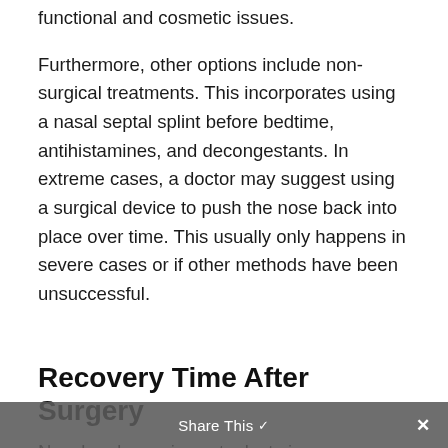functional and cosmetic issues.
Furthermore, other options include non-surgical treatments. This incorporates using a nasal septal splint before bedtime, antihistamines, and decongestants. In extreme cases, a doctor may suggest using a surgical device to push the nose back into place over time. This usually only happens in severe cases or if other methods have been unsuccessful.
Recovery Time After Surgery
Nasal endoscopic septoplasty is an outpatient surgical procedure that does not require